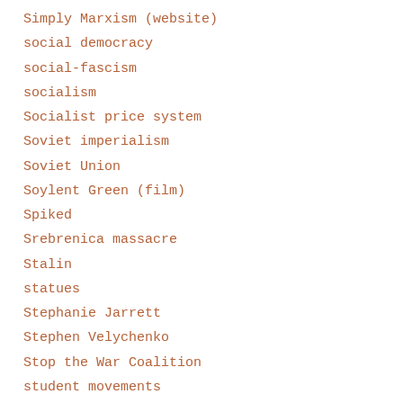Simply Marxism (website)
social democracy
social-fascism
socialism
Socialist price system
Soviet imperialism
Soviet Union
Soylent Green (film)
Spiked
Srebrenica massacre
Stalin
statues
Stephanie Jarrett
Stephen Velychenko
Stop the War Coalition
student movements
Student power